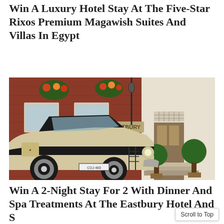Win A Luxury Hotel Stay At The Five-Star Rixos Premium Magawish Suites And Villas In Egypt
[Figure (photo): A vintage cream and black classic car parked in front of the Eastbury Hotel, a red brick Georgian building with hanging flower baskets, potted topiary trees at the entrance, and a sign reading EASTBURY.]
Win A 2-Night Stay For 2 With Dinner And Spa Treatments At The Eastbury Hotel And S…